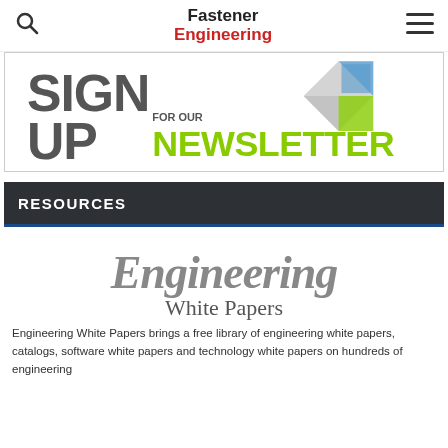Fastener Engineering
[Figure (infographic): Sign up for our Newsletter banner with large bold text SIGN UP FOR OUR NEWSLETTER and geometric diamond pattern graphic]
RESOURCES
[Figure (logo): Engineering White Papers logo in large gray italic serif font]
Engineering White Papers brings a free library of engineering white papers, catalogs, software white papers and technology white papers on hundreds of engineering